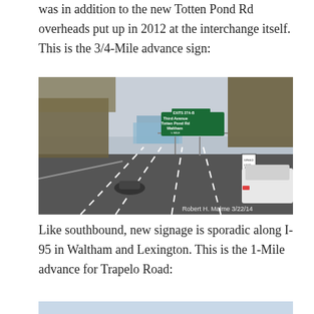was in addition to the new Totten Pond Rd overheads put up in 2012 at the interchange itself. This is the 3/4-Mile advance sign:
[Figure (photo): Highway photo showing I-95 northbound with a green overhead sign reading 'EXIT 27A-B Third Avenue Totten Pond Rd Waltham 3/4 MILE'. Photo credit: Robert H. Malme 3/22/14]
Like southbound, new signage is sporadic along I-95 in Waltham and Lexington. This is the 1-Mile advance for Trapelo Road:
[Figure (photo): Partial highway photo, sky visible at top, showing start of another road sign image]